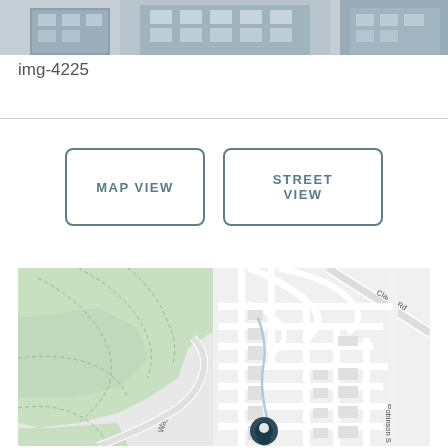[Figure (photo): Top portion of a building photograph, cropped — shows the upper facade of a structure]
img-4225
[Figure (map): Street map showing location near Clarke Rd and Robinson St, with a map pin marker. Green areas represent parks/open space on the left, residential streets on the right.]